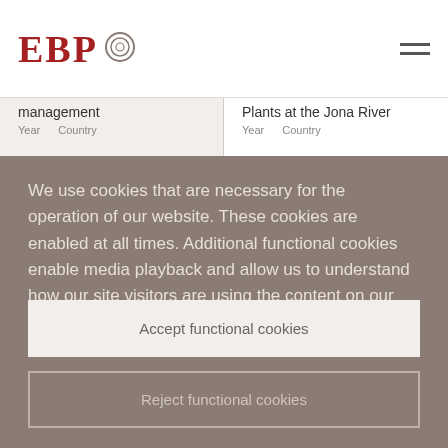EBP
management
Year  Country
Plants at the Jona River
Year  Country
We use cookies that are necessary for the operation of our website. These cookies are enabled at all times. Additional functional cookies enable media playback and allow us to understand how our site visitors are using the content on our website via analytic tools. This enables us to
Accept functional cookies
Reject functional cookies